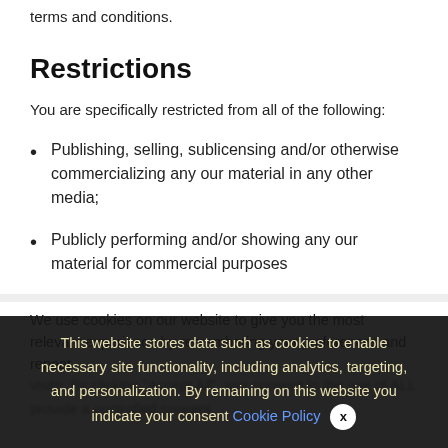terms and conditions.
Restrictions
You are specifically restricted from all of the following:
Publishing, selling, sublicensing and/or otherwise commercializing any our material in any other media;
Publicly performing and/or showing any our material for commercial purposes
We use cookies on our website to give you the most relevant experience by remembering your preferences and repeat visits. By clicking "Accept All", you consent to the use of ALL the cookies. However, you may visit "Cookie Settings" to provide a controlled consent.
This website stores data such as cookies to enable necessary site functionality, including analytics, targeting, and personalization. By remaining on this website you indicate your consent Cookie Policy